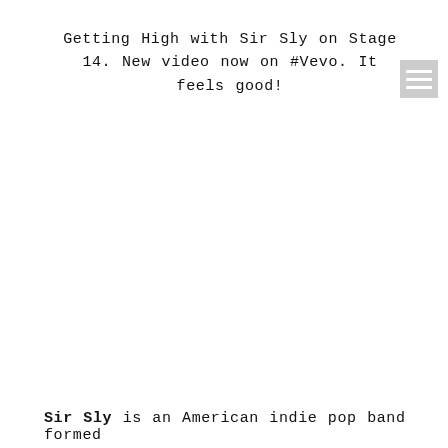Getting High with Sir Sly on Stage 14. New video now on #Vevo. It feels good!
[Figure (other): Hamburger/menu icon — three horizontal white lines on a grey square background]
Sir Sly is an American indie pop band formed